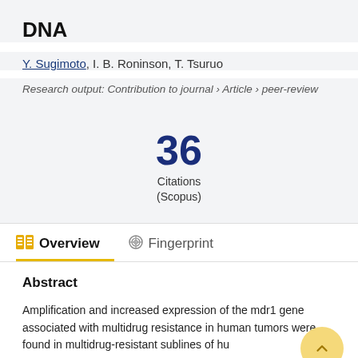DNA
Y. Sugimoto, I. B. Roninson, T. Tsuruo
Research output: Contribution to journal › Article › peer-review
36 Citations (Scopus)
Overview   Fingerprint
Abstract
Amplification and increased expression of the mdr1 gene associated with multidrug resistance in human tumors were found in multidrug-resistant sublines of human